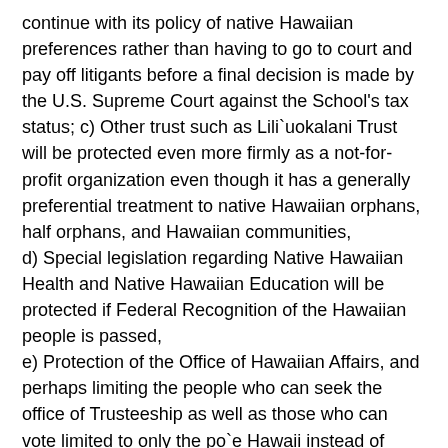continue with its policy of native Hawaiian preferences rather than having to go to court and pay off litigants before a final decision is made by the U.S. Supreme Court against the School's tax status; c) Other trust such as Lili`uokalani Trust will be protected even more firmly as a not-for-profit organization even though it has a generally preferential treatment to native Hawaiian orphans, half orphans, and Hawaiian communities, d) Special legislation regarding Native Hawaiian Health and Native Hawaiian Education will be protected if Federal Recognition of the Hawaiian people is passed, e) Protection of the Office of Hawaiian Affairs, and perhaps limiting the people who can seek the office of Trusteeship as well as those who can vote limited to only the po`e Hawaii instead of anyone else in Hawaii, including the opportunity to design a place among native Hawaiians who are not living in Hawaii and those who may declare themselves Hawaiian nationals rather than limited to only U.S. Citizens, as is the present requirement; f) Establishment and extension of a Native Hawaiian school system